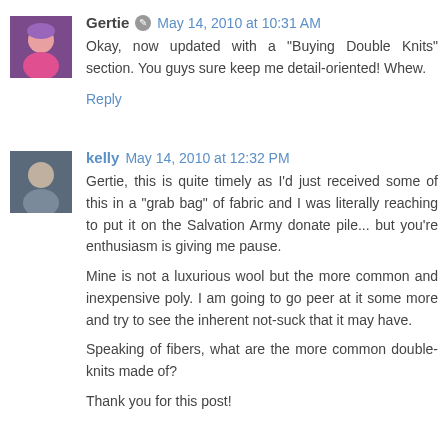Gertie  May 14, 2010 at 10:31 AM
Okay, now updated with a "Buying Double Knits" section. You guys sure keep me detail-oriented! Whew.
Reply
kelly  May 14, 2010 at 12:32 PM
Gertie, this is quite timely as I'd just received some of this in a "grab bag" of fabric and I was literally reaching to put it on the Salvation Army donate pile... but you're enthusiasm is giving me pause.

Mine is not a luxurious wool but the more common and inexpensive poly. I am going to go peer at it some more and try to see the inherent not-suck that it may have.

Speaking of fibers, what are the more common double-knits made of?

Thank you for this post!